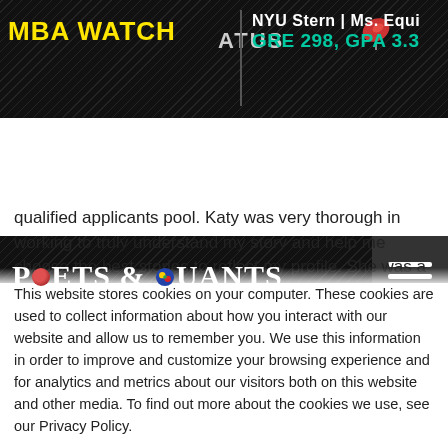MBA WATCH | STATUS | NYU Stern | Ms. Equi | GRE 298, GPA 3.3
[Figure (logo): Poets & Quants logo on dark diagonal-stripe background with hamburger menu icon]
qualified applicants pool. Katy was very thorough in working to truly understand my story and help me choose the best stories to reflect my profile. She was a perfect mentor and friend
This website stores cookies on your computer. These cookies are used to collect information about how you interact with our website and allow us to remember you. We use this information in order to improve and customize your browsing experience and for analytics and metrics about our visitors both on this website and other media. To find out more about the cookies we use, see our Privacy Policy.
If you decline, your information won't be tracked when you visit this website. A single cookie will be used in your browser to remember your preference not to be tracked.